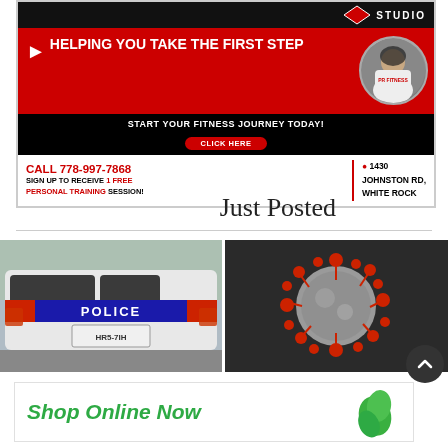[Figure (infographic): PR Fitness Studio advertisement banner. Red and black background. Text: HELPING YOU TAKE THE FIRST STEP. START YOUR FITNESS JOURNEY TODAY! CLICK HERE button. Phone: CALL 778-997-7868. SIGN UP TO RECEIVE 1 FREE PERSONAL TRAINING SESSION! Address: 1430 JOHNSTON RD, WHITE ROCK.]
Just Posted
[Figure (photo): Police SUV vehicle from behind showing POLICE lettering, license plate HR5-7IH and unit number SU2410]
[Figure (photo): 3D rendering of coronavirus / COVID-19 virus particle with red spike proteins on dark background]
[Figure (infographic): Shop Online Now advertisement with green leaf icon on white background]